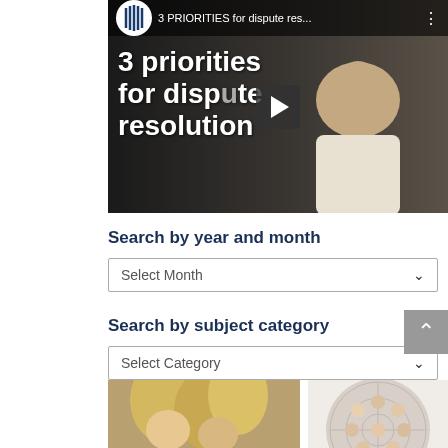[Figure (screenshot): YouTube video thumbnail showing a man in a white shirt with text '3 priorities for dispute resolution' overlaid on a dark background, with a play button in the center. Top bar shows YouTube logo and title '3 PRIORITIES for dispute res...']
Search by year and month
Select Month
Search by subject category
Select Category
[Figure (photo): Photo of two blonde children with heads together]
[Figure (photo): Sphere/globe made of many small human face photos]